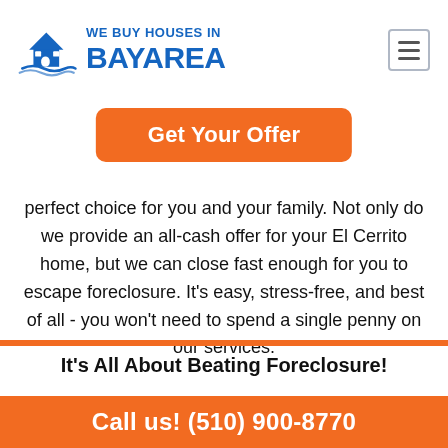[Figure (logo): We Buy Houses in Bay Area logo with house icon and blue text]
Get Your Offer
perfect choice for you and your family. Not only do we provide an all-cash offer for your El Cerrito home, but we can close fast enough for you to escape foreclosure. It's easy, stress-free, and best of all - you won't need to spend a single penny on our services.
It's All About Beating Foreclosure!
It's not just about making sure you and your
Call us! (510) 900-8770